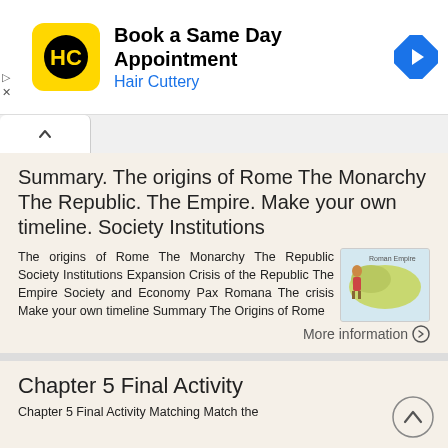[Figure (screenshot): Hair Cuttery advertisement banner with HC logo, 'Book a Same Day Appointment' heading, and a blue navigation arrow icon]
Summary. The origins of Rome The Monarchy The Republic. The Empire. Make your own timeline. Society Institutions
The origins of Rome The Monarchy The Republic Society Institutions Expansion Crisis of the Republic The Empire Society and Economy Pax Romana The crisis Make your own timeline Summary The Origins of Rome
More information →
Chapter 5 Final Activity
Chapter 5 Final Activity Matching Match the